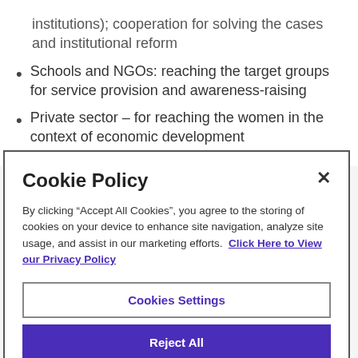institutions); cooperation for solving the cases and institutional reform
Schools and NGOs: reaching the target groups for service provision and awareness-raising
Private sector – for reaching the women in the context of economic development
Cookie Policy
By clicking “Accept All Cookies”, you agree to the storing of cookies on your device to enhance site navigation, analyze site usage, and assist in our marketing efforts.  Click Here to View our Privacy Policy
Cookies Settings
Reject All
Accept All Cookies